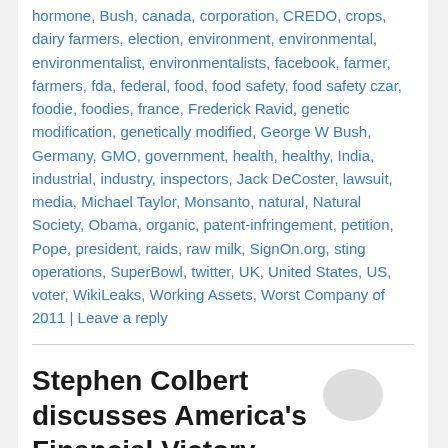hormone, Bush, canada, corporation, CREDO, crops, dairy farmers, election, environment, environmental, environmentalist, environmentalists, facebook, farmer, farmers, fda, federal, food, food safety, food safety czar, foodie, foodies, france, Frederick Ravid, genetic modification, genetically modified, George W Bush, Germany, GMO, government, health, healthy, India, industrial, industry, inspectors, Jack DeCoster, lawsuit, media, Michael Taylor, Monsanto, natural, Natural Society, Obama, organic, patent-infringement, petition, Pope, president, raids, raw milk, SignOn.org, sting operations, SuperBowl, twitter, UK, United States, US, voter, WikiLeaks, Working Assets, Worst Company of 2011 | Leave a reply
Stephen Colbert discusses America's Financial Victory, Confederate History Month S…